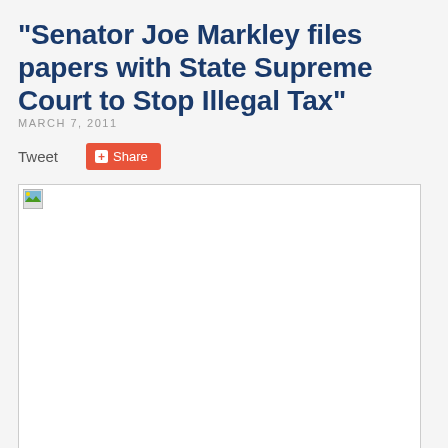“Senator Joe Markley files papers with State Supreme Court to Stop Illegal Tax”
MARCH 7, 2011
[Figure (photo): Image placeholder with broken image icon showing Senator Joe Markley speaking with reporters on the steps of the State Supreme Court]
Senator Joe Markley speaking with reporters on the steps of the